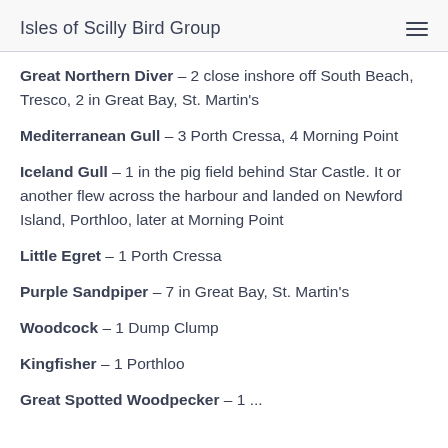Isles of Scilly Bird Group
Great Northern Diver – 2 close inshore off South Beach, Tresco, 2 in Great Bay, St. Martin's
Mediterranean Gull – 3 Porth Cressa, 4 Morning Point
Iceland Gull – 1 in the pig field behind Star Castle. It or another flew across the harbour and landed on Newford Island, Porthloo, later at Morning Point
Little Egret – 1 Porth Cressa
Purple Sandpiper – 7 in Great Bay, St. Martin's
Woodcock – 1 Dump Clump
Kingfisher – 1 Porthloo
Great Spotted Woodpecker – 1 ...